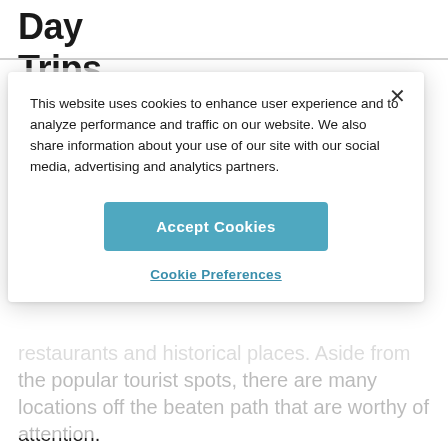Day Trips
This website uses cookies to enhance user experience and to analyze performance and traffic on our website. We also share information about your use of our site with our social media, advertising and analytics partners.
Accept Cookies
Cookie Preferences
restaurants and historical places. Aside from the popular tourist spots, there are many locations off the beaten path that are worthy of attention.